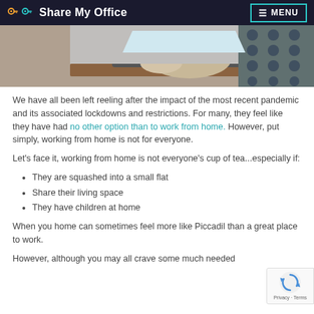Share My Office — MENU navigation bar
[Figure (photo): Person typing on a laptop at a desk, with a grey perforated panel on the right side]
We have all been left reeling after the impact of the most recent pandemic and its associated lockdowns and restrictions. For many, they feel like they have had no other option than to work from home. However, put simply, working from home is not for everyone.
Let's face it, working from home is not everyone's cup of tea...especially if:
They are squashed into a small flat
Share their living space
They have children at home
When you home can sometimes feel more like Piccadil than a great place to work.
However, although you may all crave some much needed